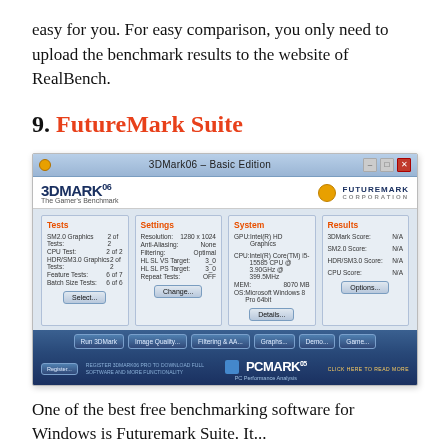easy for you. For easy comparison, you only need to upload the benchmark results to the website of RealBench.
9. FutureMark Suite
[Figure (screenshot): Screenshot of 3DMark06 Basic Edition application by Futuremark Corporation, showing Tests, Settings, System, and Results columns with buttons at the bottom and a PCMark ad bar.]
One of the best free benchmarking software for Windows is Futuremark Suite. It...